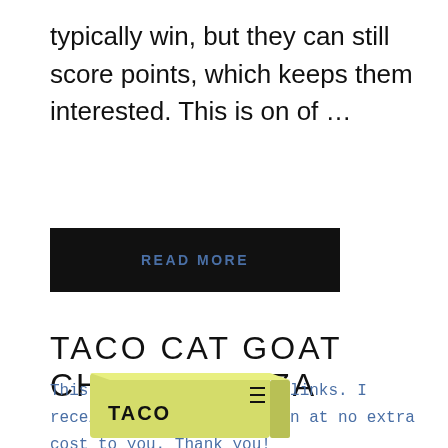typically win, but they can still score points, which keeps them interested. This is on of …
READ MORE
TACO CAT GOAT CHEESE PIZZA
This site uses affiliate links. I receive a small commission at no extra cost to you. Thank you!
[Figure (photo): Product box for Taco Cat Goat Cheese Pizza game, showing yellow packaging with 'TACO' text visible]